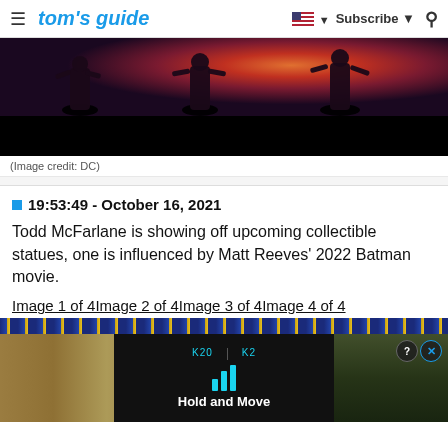tom's guide — Subscribe
[Figure (screenshot): Dark action scene screenshot with silhouettes of figures against a fiery background, with a black bar at the bottom]
(Image credit: DC)
19:53:49 - October 16, 2021
Todd McFarlane is showing off upcoming collectible statues, one is influenced by Matt Reeves' 2022 Batman movie.
Image 1 of 4Image 2 of 4Image 3 of 4Image 4 of 4
[Figure (screenshot): Advertisement overlay showing 'Hold and Move' game/app with blue neon icon on dark background with score display, trees visible on right side, and close buttons (? and X) in top right]